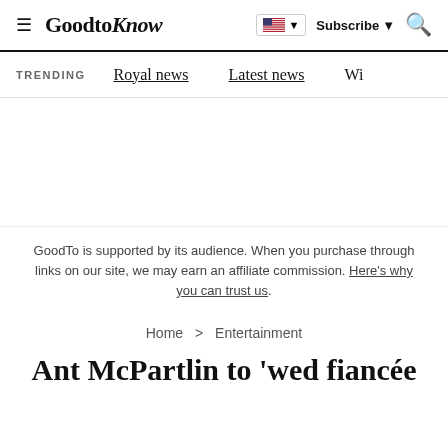GoodtoKnow — Subscribe — Search
TRENDING   Royal news   Latest news   Wi...
GoodTo is supported by its audience. When you purchase through links on our site, we may earn an affiliate commission. Here's why you can trust us.
Home > Entertainment
Ant McPartlin to 'wed fiancée